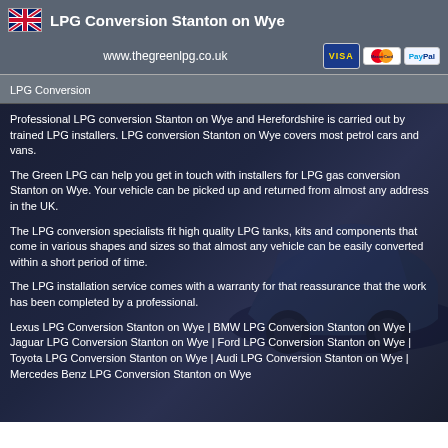LPG Conversion Stanton on Wye
www.thegreenlpg.co.uk
LPG Conversion
Professional LPG conversion Stanton on Wye and Herefordshire is carried out by trained LPG installers. LPG conversion Stanton on Wye covers most petrol cars and vans.
The Green LPG can help you get in touch with installers for LPG gas conversion Stanton on Wye. Your vehicle can be picked up and returned from almost any address in the UK.
The LPG conversion specialists fit high quality LPG tanks, kits and components that come in various shapes and sizes so that almost any vehicle can be easily converted within a short period of time.
The LPG installation service comes with a warranty for that reassurance that the work has been completed by a professional.
Lexus LPG Conversion Stanton on Wye | BMW LPG Conversion Stanton on Wye | Jaguar LPG Conversion Stanton on Wye | Ford LPG Conversion Stanton on Wye | Toyota LPG Conversion Stanton on Wye | Audi LPG Conversion Stanton on Wye | Mercedes Benz LPG Conversion Stanton on Wye